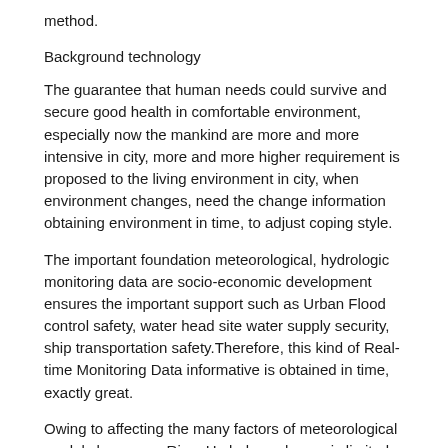method.
Background technology
The guarantee that human needs could survive and secure good health in comfortable environment, especially now the mankind are more and more intensive in city, more and more higher requirement is proposed to the living environment in city, when environment changes, need the change information obtaining environment in time, to adjust coping style.
The important foundation meteorological, hydrologic monitoring data are socio-economic development ensures the important support such as Urban Flood control safety, water head site water supply security, ship transportation safety.Therefore, this kind of Real-time Monitoring Data informative is obtained in time, exactly great.
Owing to affecting the many factors of meteorological model change, as River Hydrology change is limited by the factors such as upstream and downstream water, atmospheric precipitation, cause monitoring more complicated, the meteorological model change in whole